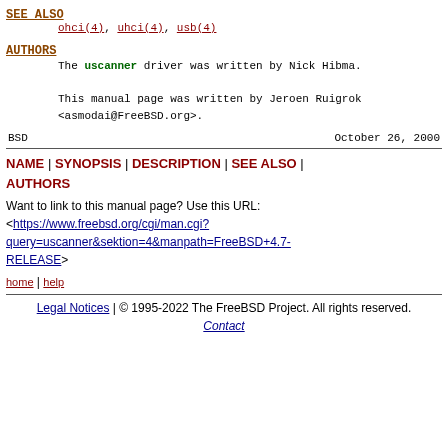SEE ALSO
ohci(4), uhci(4), usb(4)
AUTHORS
The uscanner driver was written by Nick Hibma.

This manual page was written by Jeroen Ruigrok <asmodai@FreeBSD.org>.
BSD                                   October 26, 2000
NAME | SYNOPSIS | DESCRIPTION | SEE ALSO | AUTHORS
Want to link to this manual page? Use this URL:
<https://www.freebsd.org/cgi/man.cgi?query=uscanner&sektion=4&manpath=FreeBSD+4.7-RELEASE>
home | help
Legal Notices | © 1995-2022 The FreeBSD Project. All rights reserved.
Contact